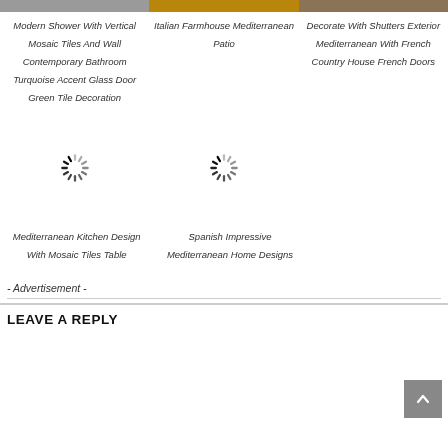[Figure (photo): Three cropped image strips at top showing bathroom tiles, farmhouse patio, and shutters exterior]
Modern Shower With Vertical Mosaic Tiles And Wall Contemporary Bathroom Turquoise Accent Glass Door Green Tile Decoration
Italian Farmhouse Mediterranean Patio
Decorate With Shutters Exterior Mediterranean With French Country House French Doors
[Figure (photo): Loading spinner placeholder for Mediterranean Kitchen Design image]
[Figure (photo): Loading spinner placeholder for Spanish Impressive Mediterranean Home Designs image]
Mediterranean Kitchen Design With Mosaic Tiles Table
Spanish Impressive Mediterranean Home Designs
- Advertisement -
LEAVE A REPLY